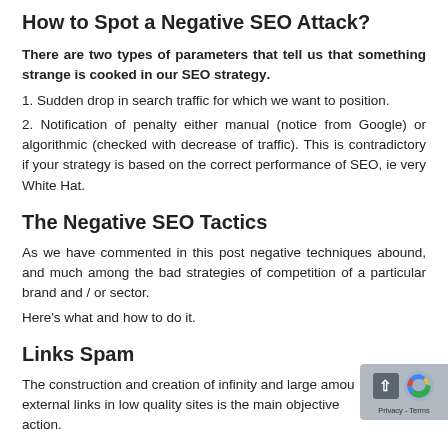How to Spot a Negative SEO Attack?
There are two types of parameters that tell us that something strange is cooked in our SEO strategy.
1. Sudden drop in search traffic for which we want to position.
2. Notification of penalty either manual (notice from Google) or algorithmic (checked with decrease of traffic). This is contradictory if your strategy is based on the correct performance of SEO, ie very White Hat.
The Negative SEO Tactics
As we have commented in this post negative techniques abound, and much among the bad strategies of competition of a particular brand and / or sector.
Here's what and how to do it.
Links Spam
The construction and creation of infinity and large amounts of external links in low quality sites is the main objective of this action.